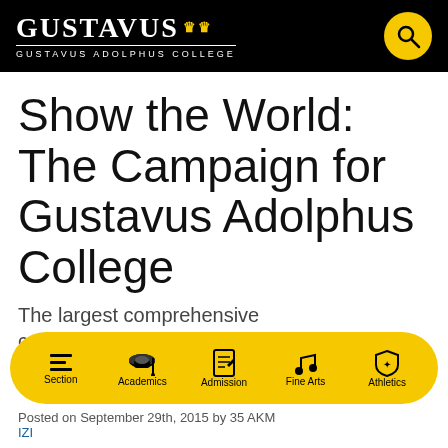GUSTAVUS 👑 GUSTAVUS ADOLPHUS COLLEGE
Show the World: The Campaign for Gustavus Adolphus College
The largest comprehensive campaign in Gustavus history seeks $225 million to equip, energize, and
[Figure (infographic): Yellow pill-shaped navigation bar with icons and labels: Section (hamburger icon), Academics (graduation cap), Admission (notepad), Fine Arts (music note), Athletics (shield crest)]
Posted on September 29th, 2015 by 35 AKM 122